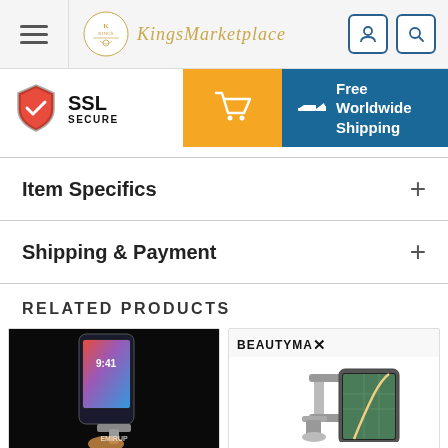[Figure (screenshot): Kings Marketplace website header with hamburger menu, Kings logo and KingsMarketplace script text, user account icon and search icon]
[Figure (screenshot): SSL Secure badge, orange shopping cart button, and blue Free Worldwide Shipping banner]
Item Specifics
Shipping & Payment
RELATED PRODUCTS
[Figure (photo): Phone mounted in a car vent holder - EMIRUP brand, dark background, hands holding phone showing 9:41]
[Figure (photo): BEAUTYMAX branded product listing showing a GPS/phone car mount holder with extendable arm]